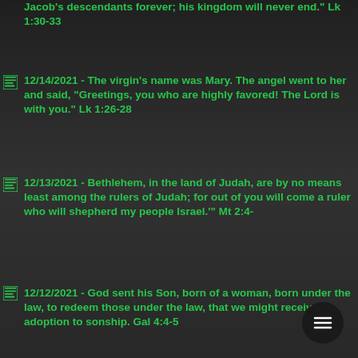Jacob's descendants forever; his kingdom will never end." Lk 1:30-33
12/14/2021 - The virgin's name was Mary. The angel went to her and said, “Greetings, you who are highly favored! The Lord is with you.” Lk 1:26-28
12/13/2021 - Bethlehem, in the land of Judah, are by no means least among the rulers of Judah; for out of you will come a ruler who will shepherd my people Israel.'" Mt 2:4-
12/12/2021 - God sent his Son, born of a woman, born under the law, to redeem those under the law, that we might receive adoption to sonship. Gal 4:4-5
12/11/2021 - Therefore the Lord himself will give...